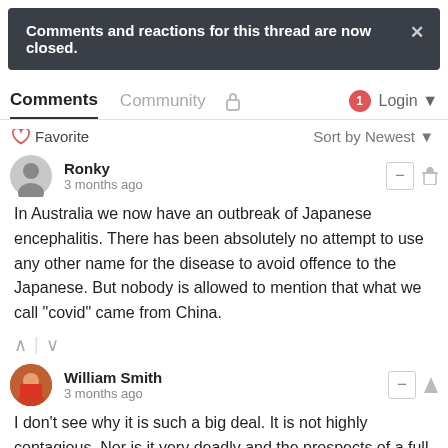Comments and reactions for this thread are now closed.
Comments  Community  🔒  1  Login
♡ Favorite    Sort by Newest
Ronky
3 months ago
In Australia we now have an outbreak of Japanese encephalitis. There has been absolutely no attempt to use any other name for the disease to avoid offence to the Japanese. But nobody is allowed to mention that what we call "covid" came from China.
William Smith
3 months ago
I don't see why it is such a big deal. It is not highly contagious, Nor is it very deadly and the prospects of a full recovery are good. Given its origin is African monkeys and